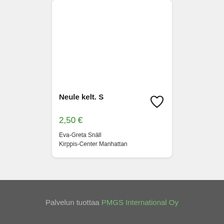[Figure (photo): Product card image area (white/blank)]
Neule kelt. S
2,50 €
Eva-Greta Snäll
Kirppis-Center Manhattan
Palvelun tuottaa PMGS International Oy